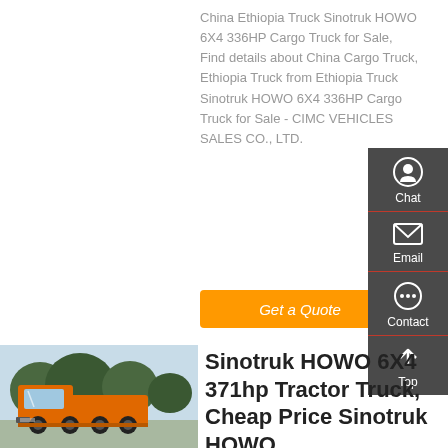China Ethiopia Truck Sinotruk HOWO 6X4 336HP Cargo Truck for Sale, Find details about China Cargo Truck, Ethiopia Truck from Ethiopia Truck Sinotruk HOWO 6X4 336HP Cargo Truck for Sale - CIMC VEHICLES SALES CO., LTD.
Get a Quote
Chat
Email
Contact
Top
[Figure (photo): Orange Sinotruk HOWO 6x4 truck parked outdoors with trees in background]
Sinotruk HOWO 6X4 371hp Tractor Truck, Cheap Price Sinotruk HOWO